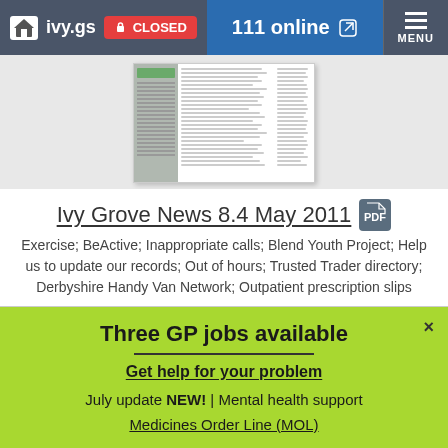ivy.gs  CLOSED  111 online  MENU
[Figure (screenshot): Thumbnail preview of a newsletter document with multiple columns of text]
Ivy Grove News 8.4 May 2011
Exercise; BeActive; Inappropriate calls; Blend Youth Project; Help us to update our records; Out of hours; Trusted Trader directory; Derbyshire Handy Van Network; Outpatient prescription slips
Three GP jobs available
Get help for your problem
July update NEW! | Mental health support
Medicines Order Line (MOL)